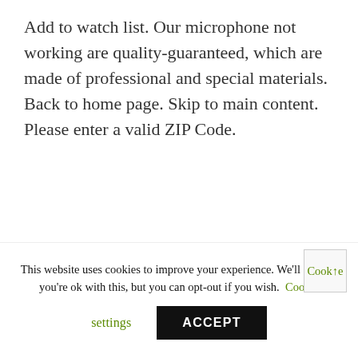Add to watch list. Our microphone not working are quality-guaranteed, which are made of professional and special materials. Back to home page. Skip to main content. Please enter a valid ZIP Code.
[Figure (photo): Blurred grayscale image of what appears to be overlapping rectangular photo frames or cards against a light background]
This website uses cookies to improve your experience. We'll assume you're ok with this, but you can opt-out if you wish. Cookie settings ACCEPT